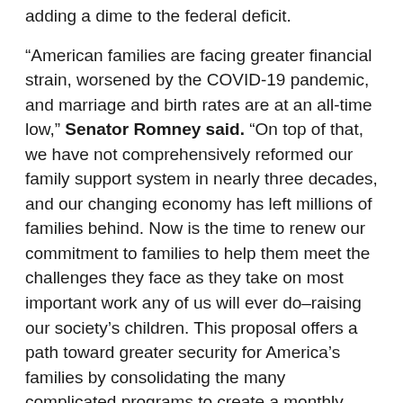adding a dime to the federal deficit.
“American families are facing greater financial strain, worsened by the COVID-19 pandemic, and marriage and birth rates are at an all-time low,” Senator Romney said. “On top of that, we have not comprehensively reformed our family support system in nearly three decades, and our changing economy has left millions of families behind. Now is the time to renew our commitment to families to help them meet the challenges they face as they take on most important work any of us will ever do–raising our society’s children. This proposal offers a path toward greater security for America’s families by consolidating the many complicated programs to create a monthly cash benefit for them, without adding to the deficit.”
The Romney proposal would:
Establish a firm national commitment to all of America’s